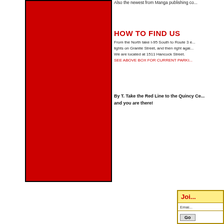Also the newest from Manga publishing co...
HOW TO FIND US
From the North take I-95 South to Route 3 e... lights on Granite Street, and then right agai... We are located at 1511 Hancock Street. SEE ABOVE BOX FOR CURRENT PARKI...
By T. Take the Red Line to the Quincy Ce... and you are there!
[Figure (other): Large red rectangle/block image on left side of page]
| Join |  |
| --- | --- |
| Email |  |
| Go |  |